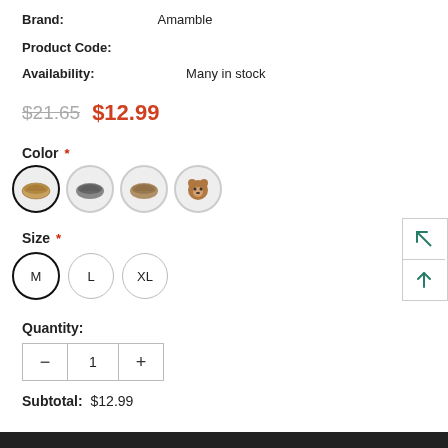Brand: Amamble
Product Code:
Availability: Many in stock
$21.65  $12.99
Color *
[Figure (other): Four circular color swatches for product color selection, first one selected with black border]
Size *
M  L  XL
Quantity:
1
Subtotal: $12.99